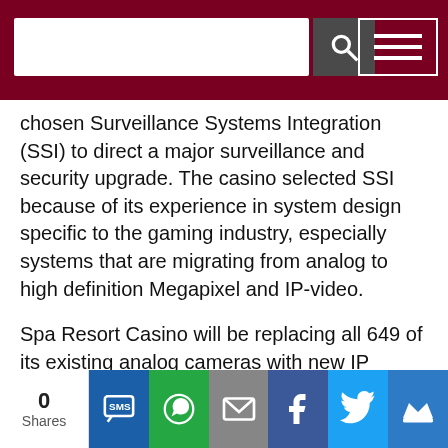[Navigation bar with search and menu]
chosen Surveillance Systems Integration (SSI) to direct a major surveillance and security upgrade. The casino selected SSI because of its experience in system design specific to the gaming industry, especially systems that are migrating from analog to high definition Megapixel and IP-video.
Spa Resort Casino will be replacing all 649 of its existing analog cameras with new IP cameras, with approximately 25 percent as high-definition cameras. Vigitron Ethernet over coaxial converters will allow for minimal interruptions on day-to-day operations. The Dallmeier SeMsyIII system with Virtual Matrix will serve as the operational brains of the system, and will allow
0 Shares [social sharing buttons: SMS, WhatsApp, Email, Facebook, Twitter, Crown]